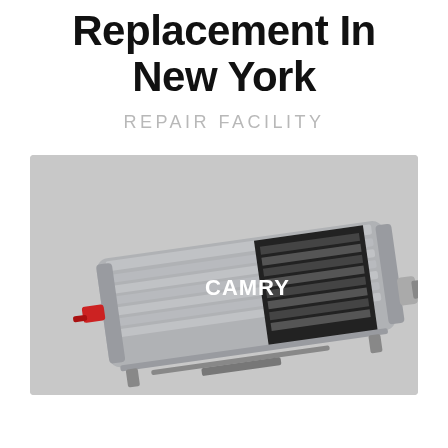Replacement In New York
REPAIR FACILITY
[Figure (photo): Toyota Camry hybrid battery pack shown in 3D render/illustration, positioned at an angle showing metallic silver casing with ribbed top surface and a cutaway section revealing the internal cell modules. The label 'CAMRY' appears in white text overlaid on the battery. Background is light gray.]